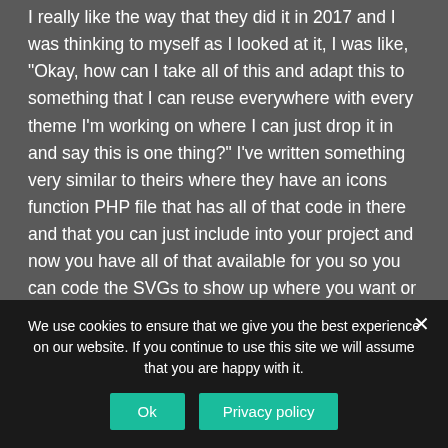I really like the way that they did it in 2017 and I was thinking to myself as I looked at it, I was like, "Okay, how can I take all of this and adapt this to something that I can reuse everywhere with every theme I'm working on where I can just drop it in and say this is one thing?" I've written something very similar to theirs where they have an icons function PHP file that has all of that code in there and that you can just include into your project and now you have all of that available for you so you can code the SVGs to show up where you want or you can do like they did with the menu system
We use cookies to ensure that we give you the best experience on our website. If you continue to use this site we will assume that you are happy with it.